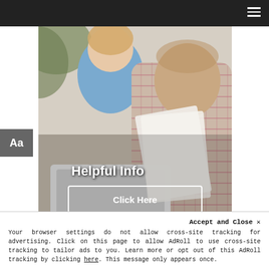Navigation bar with hamburger menu icon
[Figure (photo): Two older adults, a man and a woman, looking at a laptop computer together while the man holds papers. Overlaid with text 'Helpful Info' and a 'Click Here' button with white border.]
Helpful Info
Click Here
Accept and Close ✕
Your browser settings do not allow cross-site tracking for advertising. Click on this page to allow AdRoll to use cross-site tracking to tailor ads to you. Learn more or opt out of this AdRoll tracking by clicking here. This message only appears once.